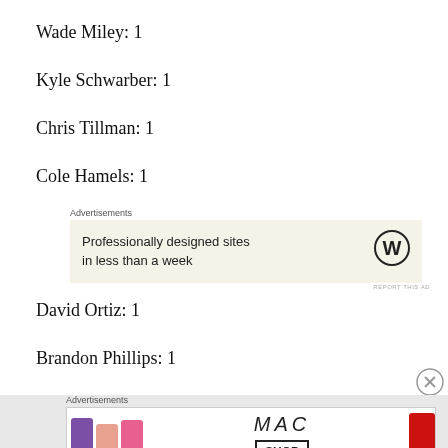Wade Miley: 1
Kyle Schwarber: 1
Chris Tillman: 1
Cole Hamels: 1
[Figure (other): WordPress advertisement: Professionally designed sites in less than a week]
David Ortiz: 1
Brandon Phillips: 1
[Figure (other): MAC cosmetics advertisement showing lipsticks with SHOP NOW button]